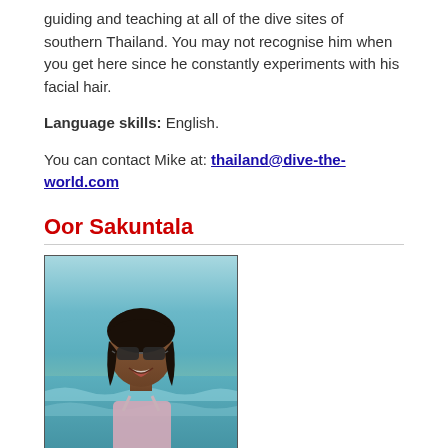guiding and teaching at all of the dive sites of southern Thailand. You may not recognise him when you get here since he constantly experiments with his facial hair.
Language skills: English.
You can contact Mike at: thailand@dive-the-world.com
Oor Sakuntala
[Figure (photo): Photo of Oor Sakuntala, a woman with dark hair and sunglasses, smiling at the beach]
Nationality: Thai / Swedish